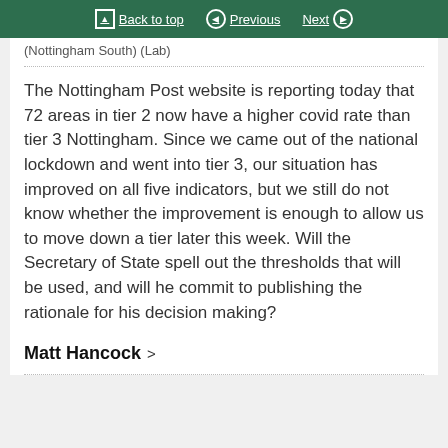Back to top  Previous  Next
(Nottingham South) (Lab)
The Nottingham Post website is reporting today that 72 areas in tier 2 now have a higher covid rate than tier 3 Nottingham. Since we came out of the national lockdown and went into tier 3, our situation has improved on all five indicators, but we still do not know whether the improvement is enough to allow us to move down a tier later this week. Will the Secretary of State spell out the thresholds that will be used, and will he commit to publishing the rationale for his decision making?
Matt Hancock >